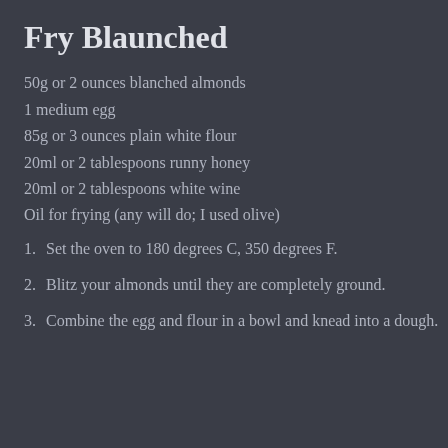Fry Blaunched
50g or 2 ounces blanched almonds
1 medium egg
85g or 3 ounces plain white flour
20ml or 2 tablespoons runny honey
20ml or 2 tablespoons white wine
Oil for frying (any will do; I used olive)
1. Set the oven to 180 degrees C, 350 degrees F.
2. Blitz your almonds until they are completely ground.
3. Combine the egg and flour in a bowl and knead into a dough.